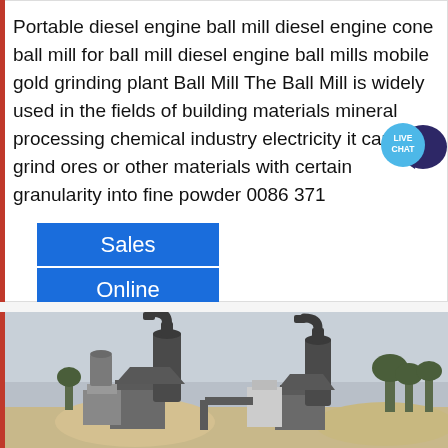Portable diesel engine ball mill diesel engine cone ball mill for ball mill diesel engine ball mills mobile gold grinding plant Ball Mill The Ball Mill is widely used in the fields of building materials mineral processing chemical industry electricity it can grind ores or other materials with certain granularity into fine powder 0086 371
[Figure (infographic): Live Chat widget with blue circular bubble and dark navy speech bubble tail showing LIVE CHAT text]
Sales Online
[Figure (photo): Photo of industrial ball mill equipment outdoors showing two large cylindrical grinding mill towers with pipes, dust collectors, and industrial structures against an overcast sky with trees in the background]